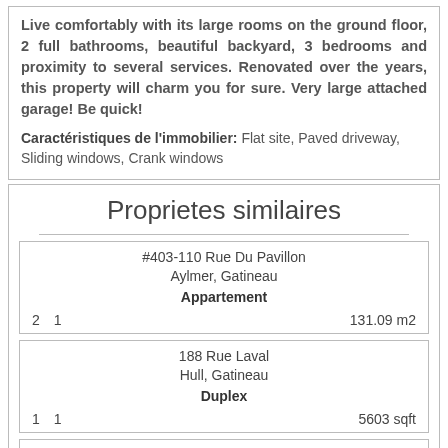Live comfortably with its large rooms on the ground floor, 2 full bathrooms, beautiful backyard, 3 bedrooms and proximity to several services. Renovated over the years, this property will charm you for sure. Very large attached garage! Be quick! Caractéristiques de l'immobilier: Flat site, Paved driveway, Sliding windows, Crank windows
Proprietes similaires
| Address | City | Type | Bedrooms | Bathrooms | Area |
| --- | --- | --- | --- | --- | --- |
| #403-110 Rue Du Pavillon | Aylmer, Gatineau | Appartement | 2 | 1 | 131.09 m2 |
| 188 Rue Laval | Hull, Gatineau | Duplex | 1 | 1 | 5603 sqft |
| #554-345 Boul. Wilfrid-Lavigne | Aylmer, Gatineau | Appartement |  |  |  |